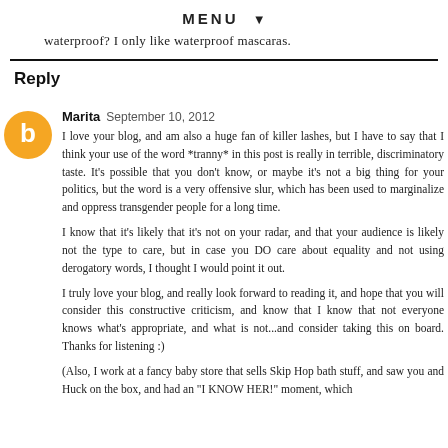MENU ▼
waterproof? I only like waterproof mascaras.
Reply
Marita  September 10, 2012
I love your blog, and am also a huge fan of killer lashes, but I have to say that I think your use of the word *tranny* in this post is really in terrible, discriminatory taste. It's possible that you don't know, or maybe it's not a big thing for your politics, but the word is a very offensive slur, which has been used to marginalize and oppress transgender people for a long time.

I know that it's likely that it's not on your radar, and that your audience is likely not the type to care, but in case you DO care about equality and not using derogatory words, I thought I would point it out.

I truly love your blog, and really look forward to reading it, and hope that you will consider this constructive criticism, and know that I know that not everyone knows what's appropriate, and what is not...and consider taking this on board. Thanks for listening :)

(Also, I work at a fancy baby store that sells Skip Hop bath stuff, and saw you and Huck on the box, and had an "I KNOW HER!" moment, which